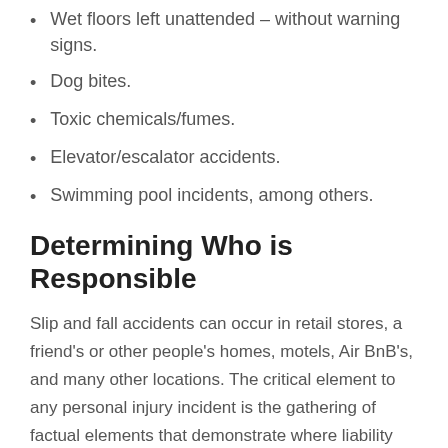Wet floors left unattended – without warning signs.
Dog bites.
Toxic chemicals/fumes.
Elevator/escalator accidents.
Swimming pool incidents, among others.
Determining Who is Responsible
Slip and fall accidents can occur in retail stores, a friend's or other people's homes, motels, Air BnB's, and many other locations. The critical element to any personal injury incident is the gathering of factual elements that demonstrate where liability lies with regard to the incident that caused the injury. Thousands of individuals are injured each year, some seriously from tripping or a slip and fall caused by one of the